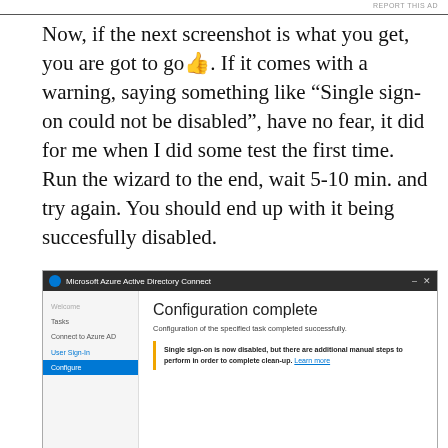REPORT THIS AD
Now, if the next screenshot is what you get, you are got to go👍. If it comes with a warning, saying something like "Single sign-on could not be disabled", have no fear, it did for me when I did some test the first time. Run the wizard to the end, wait 5-10 min. and try again. You should end up with it being succesfully disabled.
[Figure (screenshot): Microsoft Azure Active Directory Connect window showing 'Configuration complete' screen. Left sidebar shows: Welcome (dimmed), Tasks, Connect to Azure AD, User Sign-in, Configure (active/highlighted in blue). Main content area shows title 'Configuration complete', subtitle 'Configuration of the specified task completed successfully.', and an orange-bordered info box reading 'Single sign-on is now disabled, but there are additional manual steps to perform in order to complete clean-up. Learn more']